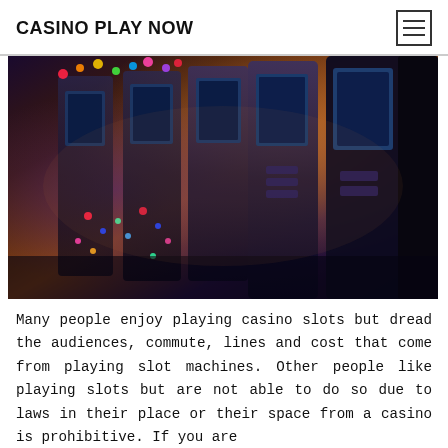CASINO PLAY NOW
[Figure (photo): Rows of colorful casino slot machines in a dimly lit casino, photographed from a low angle perspective showing multiple machines receding into the background with neon lights.]
Many people enjoy playing casino slots but dread the audiences, commute, lines and cost that come from playing slot machines. Other people like playing slots but are not able to do so due to laws in their place or their space from a casino is prohibitive. If you are